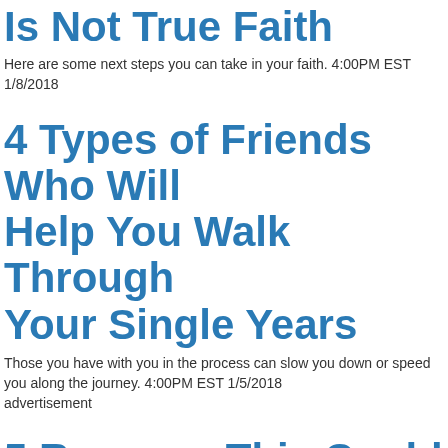Is Not True Faith
Here are some next steps you can take in your faith. 4:00PM EST 1/8/2018
4 Types of Friends Who Will Help You Walk Through Your Single Years
Those you have with you in the process can slow you down or speed you along the journey. 4:00PM EST 1/5/2018 advertisement
5 Reasons This Could Be Your Best Year Yet